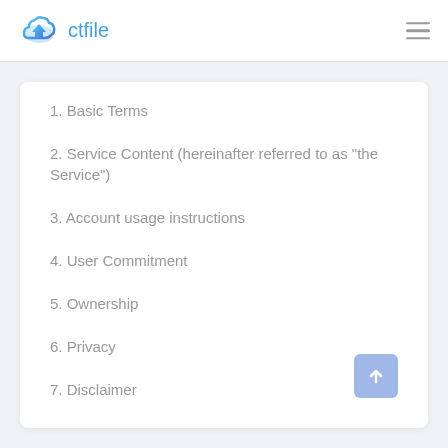ctfile
1. Basic Terms
2. Service Content (hereinafter referred to as "the Service")
3. Account usage instructions
4. User Commitment
5. Ownership
6. Privacy
7. Disclaimer